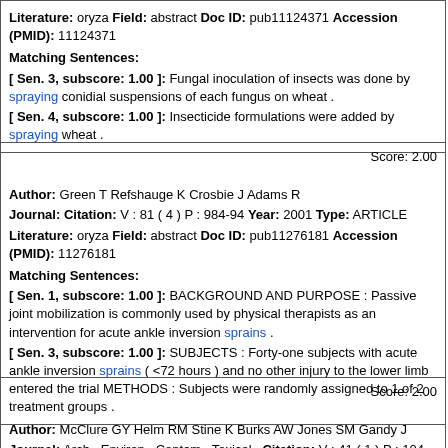Literature: oryza Field: abstract Doc ID: pub11124371 Accession (PMID): 11124371
Matching Sentences: [ Sen. 3, subscore: 1.00 ]: Fungal inoculation of insects was done by spraying conidial suspensions of each fungus on wheat . [ Sen. 4, subscore: 1.00 ]: Insecticide formulations were added by spraying wheat .
Score: 2.00
Author: Green T Refshauge K Crosbie J Adams R
Journal: Citation: V : 81 ( 4 ) P : 984-94 Year: 2001 Type: ARTICLE
Literature: oryza Field: abstract Doc ID: pub11276181 Accession (PMID): 11276181
Matching Sentences: [ Sen. 1, subscore: 1.00 ]: BACKGROUND AND PURPOSE : Passive joint mobilization is commonly used by physical therapists as an intervention for acute ankle inversion sprains . [ Sen. 3, subscore: 1.00 ]: SUBJECTS : Forty-one subjects with acute ankle inversion sprains ( <72 hours ) and no other injury to the lower limb entered the trial METHODS : Subjects were randomly assigned to 1 of 2 treatment groups .
Score: 2.00
Author: McClure GY Helm RM Stine K Burks AW Jones SM Gandy J
Journal: Arch . Environ . Contam . Toxicol . Citation: V : 41 ( 1 ) P : 104-11 Year: 2001 Type: ARTICLE
Literature: oryza Field: abstract Doc ID: pub11385596 Accession (PMID): 11385596